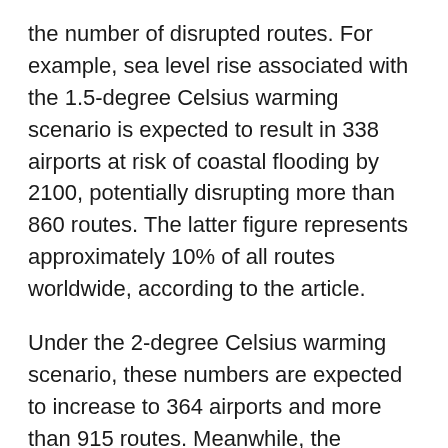the number of disrupted routes. For example, sea level rise associated with the 1.5-degree Celsius warming scenario is expected to result in 338 airports at risk of coastal flooding by 2100, potentially disrupting more than 860 routes. The latter figure represents approximately 10% of all routes worldwide, according to the article.
Under the 2-degree Celsius warming scenario, these numbers are expected to increase to 364 airports and more than 915 routes. Meanwhile, the RCP8.5 scenario would subject 413 airports to coastal flood risk, potentially disrupting approximately 1,114 routes. Finally, the RCP8.5+ scenario would put 572 airports at